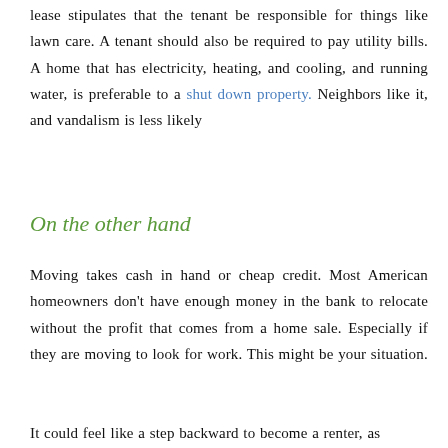lease stipulates that the tenant be responsible for things like lawn care. A tenant should also be required to pay utility bills. A home that has electricity, heating, and cooling, and running water, is preferable to a shut down property. Neighbors like it, and vandalism is less likely
On the other hand
Moving takes cash in hand or cheap credit. Most American homeowners don't have enough money in the bank to relocate without the profit that comes from a home sale. Especially if they are moving to look for work. This might be your situation.
It could feel like a step backward to become a renter, as